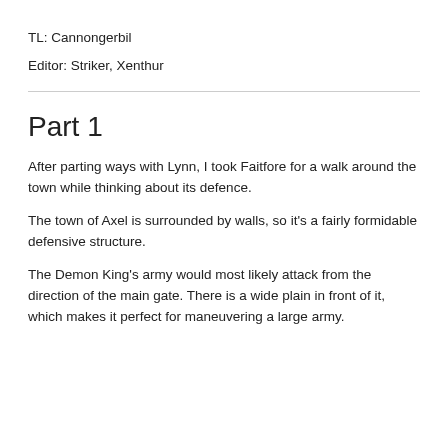TL: Cannongerbil
Editor: Striker, Xenthur
Part 1
After parting ways with Lynn, I took Faitfore for a walk around the town while thinking about its defence.
The town of Axel is surrounded by walls, so it's a fairly formidable defensive structure.
The Demon King's army would most likely attack from the direction of the main gate. There is a wide plain in front of it, which makes it perfect for maneuvering a large army.